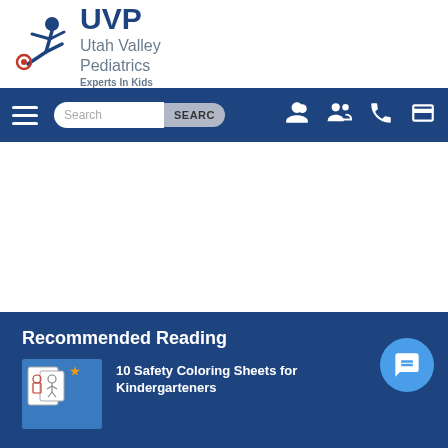[Figure (logo): Utah Valley Pediatrics logo with UVP text and cartoon child figure, tagline 'Experts In Kids']
[Figure (screenshot): Navigation bar with hamburger menu, search box with SEARCH button, and icons for user, phone, and bill/dollar]
Recommended Reading
[Figure (illustration): Thumbnail image of coloring book pages for kids]
10 Safety Coloring Sheets for Kindergarteners